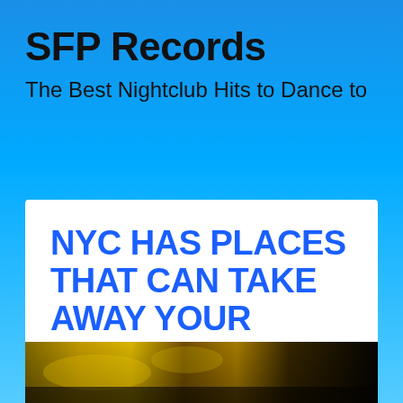SFP Records
The Best Nightclub Hits to Dance to
NYC HAS PLACES THAT CAN TAKE AWAY YOUR BOREDOM
[Figure (photo): A dark, yellowish-tinted nightclub or stage scene, partially visible at the bottom of the page.]